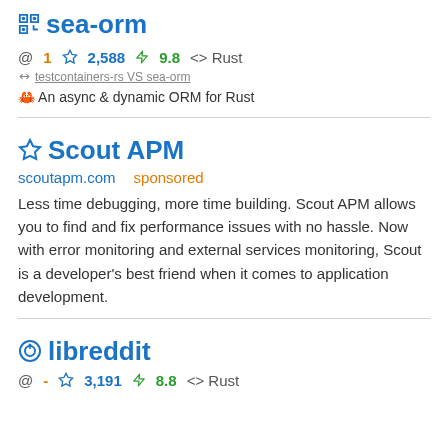sea-orm
@ 1  2,588  9.8  <> Rust
testcontainers-rs VS sea-orm
🦀 An async & dynamic ORM for Rust
Scout APM
scoutapm.com    sponsored
Less time debugging, more time building. Scout APM allows you to find and fix performance issues with no hassle. Now with error monitoring and external services monitoring, Scout is a developer's best friend when it comes to application development.
libreddit
@ -  3,191  8.8  <> Rust